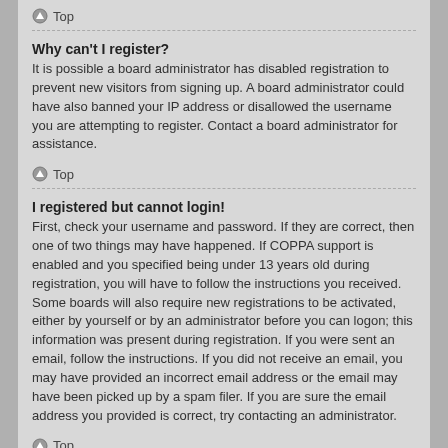Top
Why can't I register?
It is possible a board administrator has disabled registration to prevent new visitors from signing up. A board administrator could have also banned your IP address or disallowed the username you are attempting to register. Contact a board administrator for assistance.
Top
I registered but cannot login!
First, check your username and password. If they are correct, then one of two things may have happened. If COPPA support is enabled and you specified being under 13 years old during registration, you will have to follow the instructions you received. Some boards will also require new registrations to be activated, either by yourself or by an administrator before you can logon; this information was present during registration. If you were sent an email, follow the instructions. If you did not receive an email, you may have provided an incorrect email address or the email may have been picked up by a spam filer. If you are sure the email address you provided is correct, try contacting an administrator.
Top
Why can't I login?